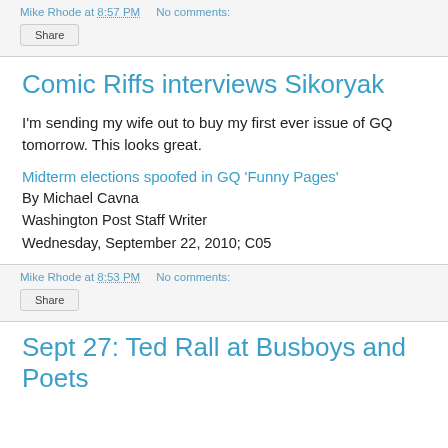Mike Rhode at 8:57 PM   No comments:
Share
Comic Riffs interviews Sikoryak
I'm sending my wife out to buy my first ever issue of GQ tomorrow. This looks great.
Midterm elections spoofed in GQ 'Funny Pages'
By Michael Cavna
Washington Post Staff Writer
Wednesday, September 22, 2010; C05
Mike Rhode at 8:53 PM   No comments:
Share
Sept 27: Ted Rall at Busboys and Poets